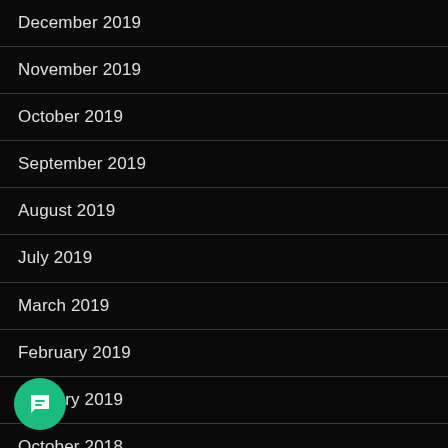December 2019
November 2019
October 2019
September 2019
August 2019
July 2019
March 2019
February 2019
January 2019
October 2018
September 2018
July 2018